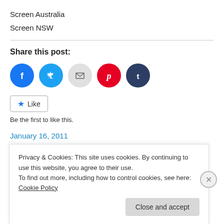Screen Australia
Screen NSW
Share this post:
[Figure (other): Social share buttons: Facebook, Twitter, Email, Pinterest, Tumblr]
[Figure (other): Like button with star icon]
Be the first to like this.
January 16, 2011
Privacy & Cookies: This site uses cookies. By continuing to use this website, you agree to their use.
To find out more, including how to control cookies, see here: Cookie Policy